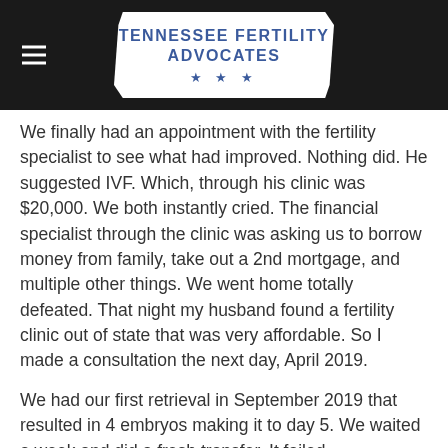TENNESSEE FERTILITY ADVOCATES ★ ★ ★
We finally had an appointment with the fertility specialist to see what had improved. Nothing did. He suggested IVF. Which, through his clinic was $20,000. We both instantly cried. The financial specialist through the clinic was asking us to borrow money from family, take out a 2nd mortgage, and multiple other things. We went home totally defeated. That night my husband found a fertility clinic out of state that was very affordable. So I made a consultation the next day, April 2019.
We had our first retrieval in September 2019 that resulted in 4 embryos making it to day 5. We waited a week and did a fresh transfer. It failed. Devastated, we tried a frozen transfer January